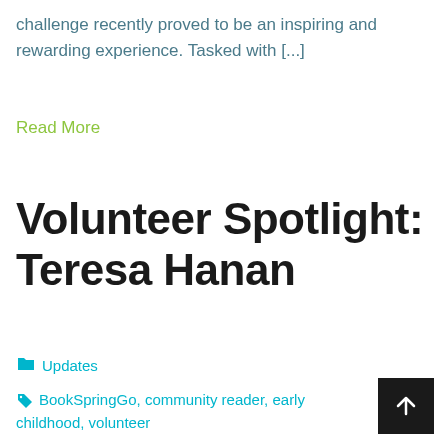challenge recently proved to be an inspiring and rewarding experience. Tasked with [...]
Read More
Volunteer Spotlight: Teresa Hanan
Updates
BookSpringGo, community reader, early childhood, volunteer